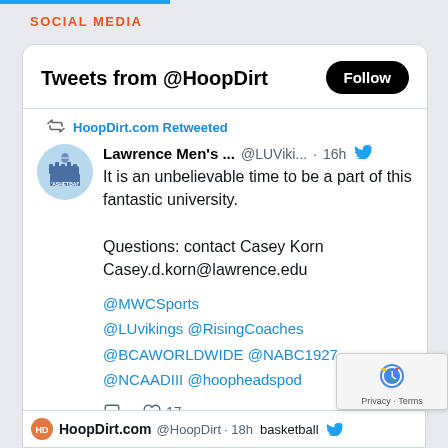SOCIAL MEDIA
[Figure (screenshot): Twitter/X widget showing 'Tweets from @HoopDirt' with a Follow button, a retweet from Lawrence Men's Basketball (@LUViki...) posted 16h ago. Tweet text: 'It is an unbelievable time to be a part of this fantastic university. Questions: contact Casey Korn Casey.d.korn@lawrence.edu @MWCSports @LUvikings @RisingCoaches @BCAWORLDWIDE @NABC1927 @NCAADIII @hoopheadspod' with 17 likes. Partial second tweet from HoopDirt.com visible at bottom.]